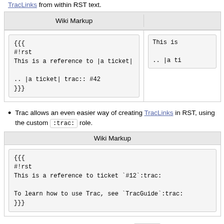TracLinks from within RST text.
| Wiki Markup |  |
| --- | --- |
| {{{\n#!rst\nThis is a reference to |a ticket|\n\n.. |a ticket| trac:: #42\n}}} | This is ...\n\n.. |a ti |
Trac allows an even easier way of creating TracLinks in RST, using the custom :trac: role.
| Wiki Markup |
| --- |
| {{{\n#!rst\nThis is a reference to ticket `#12`:trac:\n\nTo learn how to use Trac, see `TracGuide`:trac:\n}}} |
For a complete example of all uses of the :trac: role, please see WikiRestructuredTextLinks.
Syntax highlighting in reStructuredText